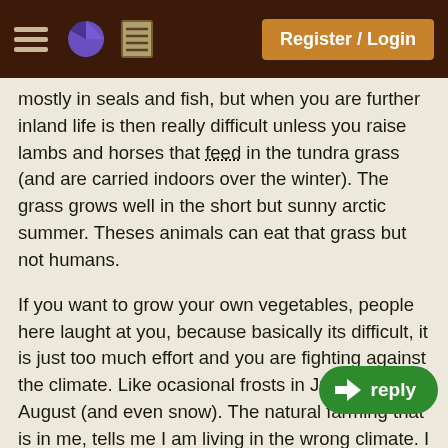Register / Login
mostly in seals and fish, but when you are further inland life is then really difficult unless you raise lambs and horses that feed in the tundra grass (and are carried indoors over the winter). The grass grows well in the short but sunny arctic summer. Theses animals can eat that grass but not humans.
If you want to grow your own vegetables, people here laught at you, because basically its difficult, it is just too much effort and you are fighting against the climate. Like ocasional frosts in June, July and August (and even snow). The natural farming that is in me, tells me I am living in the wrong climate. I have a large problem, my body dislikes eating meat, so that makes my living even harder.
Humans are mostly adapted to tropical lo... foraging for food is easy, and natural farm... permaculture is really easy. Towards the arctic you are forced to use your own intellect to develop tools for